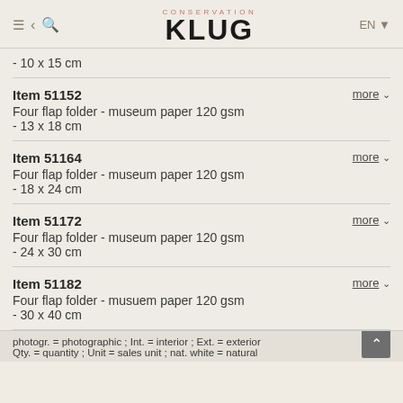KLUG CONSERVATION
- 10 x 15 cm
Item 51152
Four flap folder - museum paper 120 gsm
- 13 x 18 cm
Item 51164
Four flap folder - museum paper 120 gsm
- 18 x 24 cm
Item 51172
Four flap folder - museum paper 120 gsm
- 24 x 30 cm
Item 51182
Four flap folder - musuem paper 120 gsm
- 30 x 40 cm
photogr. = photographic ; Int. = interior ; Ext. = exterior ; Qty. = quantity ; Unit = sales unit ; nat. white = natural